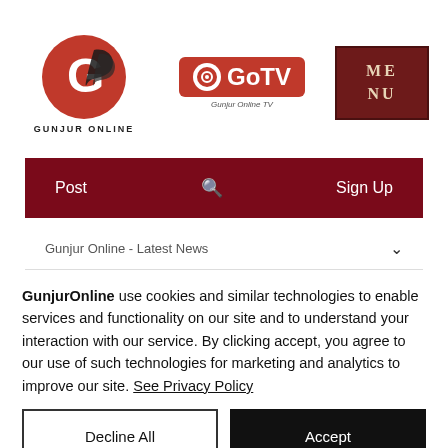[Figure (logo): Gunjur Online logo with stylized G and bird mark, text GUNJUR ONLINE below]
[Figure (logo): GoTV logo - red rounded rectangle with camera icon and GoTV text, Gunjur Online TV subtitle]
[Figure (logo): Dark red MENU box with ME NU text in serif font]
[Figure (screenshot): Dark red navigation bar with Post, search icon, and Sign Up]
Gunjur Online - Latest News
GunjurOnline use cookies and similar technologies to enable services and functionality on our site and to understand your interaction with our service. By clicking accept, you agree to our use of such technologies for marketing and analytics to improve our site. See Privacy Policy
Decline All
Accept
Cookie Settings